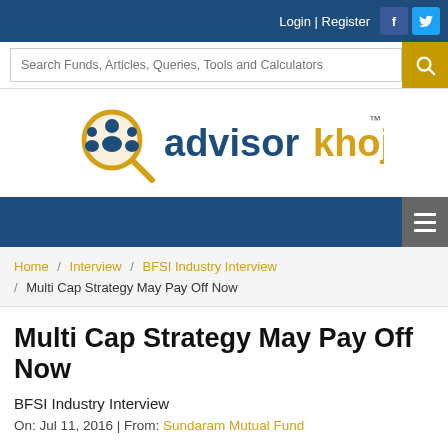Login | Register
[Figure (logo): advisorkhoj logo with magnifying glass and people icon]
Home / Interview / BFSI Industry Interview / Multi Cap Strategy May Pay Off Now
Multi Cap Strategy May Pay Off Now
BFSI Industry Interview
On: Jul 11, 2016 | From: Sundaram Mutual Fund